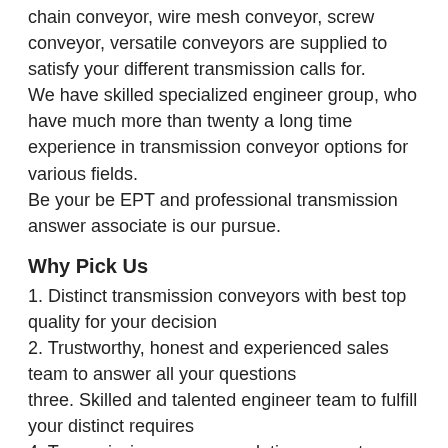chain conveyor, wire mesh conveyor, screw conveyor, versatile conveyors are supplied to satisfy your different transmission calls for. We have skilled specialized engineer group, who have much more than twenty a long time experience in transmission conveyor options for various fields. Be your be EPT and professional transmission answer associate is our pursue.
Why Pick Us
1. Distinct transmission conveyors with best top quality for your decision
2. Trustworthy, honest and experienced sales team to answer all your questions
three. Skilled and talented engineer team to fulfill your distinct requires
4. Transmission conveyor solutions expert.
If you are fascinated in this merchandise, you should